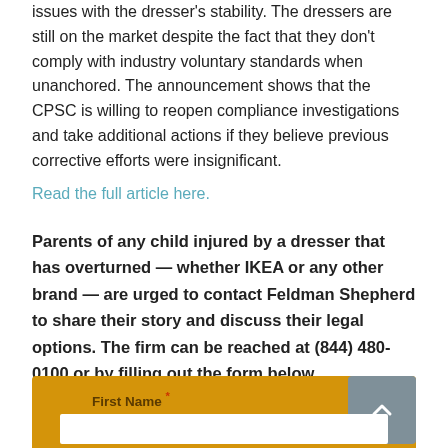issues with the dresser's stability. The dressers are still on the market despite the fact that they don't comply with industry voluntary standards when unanchored. The announcement shows that the CPSC is willing to reopen compliance investigations and take additional actions if they believe previous corrective efforts were insignificant.
Read the full article here.
Parents of any child injured by a dresser that has overturned — whether IKEA or any other brand — are urged to contact Feldman Shepherd to share their story and discuss their legal options. The firm can be reached at (844) 480-0100 or by filling out the form below.
First Name *